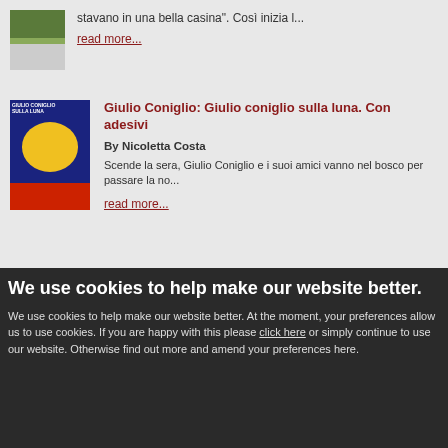stavano in una bella casina". Così inizia l...
read more...
[Figure (photo): Book cover of Giulio Coniglio sulla luna]
Giulio Coniglio: Giulio coniglio sulla luna. Con adesivi
By Nicoletta Costa
Scende la sera, Giulio Coniglio e i suoi amici vanno nel bosco per passare la no...
read more...
We use cookies to help make our website better.
We use cookies to help make our website better. At the moment, your preferences allow us to use cookies. If you are happy with this please click here or simply continue to use our website. Otherwise find out more and amend your preferences here.